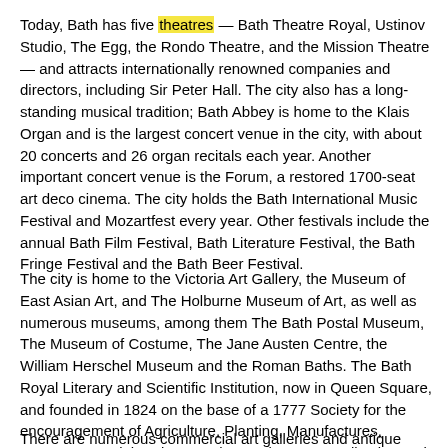Today, Bath has five theatres — Bath Theatre Royal, Ustinov Studio, The Egg, the Rondo Theatre, and the Mission Theatre — and attracts internationally renowned companies and directors, including Sir Peter Hall. The city also has a long-standing musical tradition; Bath Abbey is home to the Klais Organ and is the largest concert venue in the city, with about 20 concerts and 26 organ recitals each year. Another important concert venue is the Forum, a restored 1700-seat art deco cinema. The city holds the Bath International Music Festival and Mozartfest every year. Other festivals include the annual Bath Film Festival, Bath Literature Festival, the Bath Fringe Festival and the Bath Beer Festival.
The city is home to the Victoria Art Gallery, the Museum of East Asian Art, and The Holburne Museum of Art, as well as numerous museums, among them The Bath Postal Museum, The Museum of Costume, The Jane Austen Centre, the William Herschel Museum and the Roman Baths. The Bath Royal Literary and Scientific Institution, now in Queen Square, and founded in 1824 on the base of a 1777 Society for the encouragement of Agriculture, Planting, Manufactures, Commerce and the Fine Arts, has an important collection and holds a rich and popular programme of talks and discussions. See 'Places of interest' below for details of many other places of artistic, cultural and historical interest.
There are numerous commercial art galleries and antique shops in Bath, which is one of the most important centres of the English antiques trade